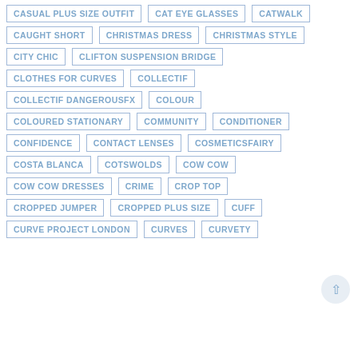CASUAL PLUS SIZE OUTFIT
CAT EYE GLASSES
CATWALK
CAUGHT SHORT
CHRISTMAS DRESS
CHRISTMAS STYLE
CITY CHIC
CLIFTON SUSPENSION BRIDGE
CLOTHES FOR CURVES
COLLECTIF
COLLECTIF DANGEROUSFX
COLOUR
COLOURED STATIONARY
COMMUNITY
CONDITIONER
CONFIDENCE
CONTACT LENSES
COSMETICSFAIRY
COSTA BLANCA
COTSWOLDS
COW COW
COW COW DRESSES
CRIME
CROP TOP
CROPPED JUMPER
CROPPED PLUS SIZE
CUFF
CURVE PROJECT LONDON
CURVES
CURVETY